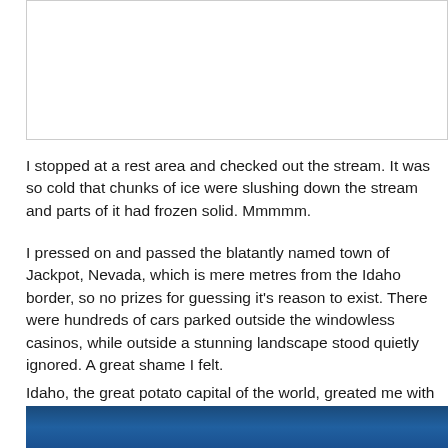[Figure (photo): White rectangular image box at top of page]
I stopped at a rest area and checked out the stream. It was so cold that chunks of ice were slushing down the stream and parts of it had frozen solid. Mmmmm.
I pressed on and passed the blatantly named town of Jackpot, Nevada, which is mere metres from the Idaho border, so no prizes for guessing it's reason to exist. There were hundreds of cars parked outside the windowless casinos, while outside a stunning landscape stood quietly ignored. A great shame I felt.
Idaho, the great potato capital of the world, greated me with empty spaces that made Nevada look cramped!
[Figure (photo): Blue gradient bar at bottom of page, partially visible]